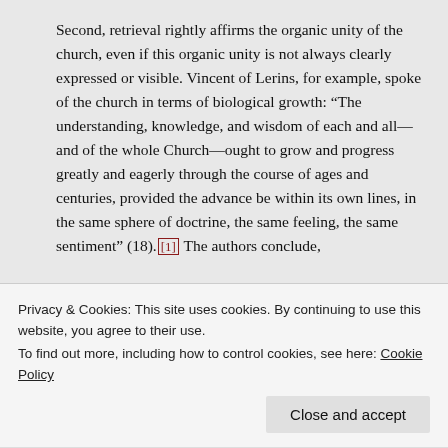Second, retrieval rightly affirms the organic unity of the church, even if this organic unity is not always clearly expressed or visible. Vincent of Lerins, for example, spoke of the church in terms of biological growth: “The understanding, knowledge, and wisdom of each and all—and of the whole Church—ought to grow and progress greatly and eagerly through the course of ages and centuries, provided the advance be within its own lines, in the same sphere of doctrine, the same feeling, the same sentiment” (18).[1] The authors conclude,
Privacy & Cookies: This site uses cookies. By continuing to use this website, you agree to their use.
To find out more, including how to control cookies, see here: Cookie Policy
Close and accept